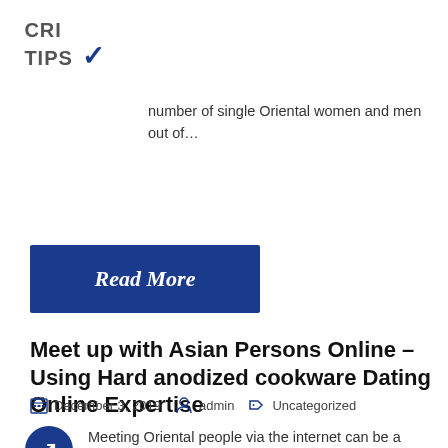CRI TIPS
number of single Oriental women and men out of…
Read More
Meet up with Asian Persons Online – Using Hard anodized cookware Dating Online Expertise
December 3, 2019   admin   Uncategorized
Meeting Oriental people via the internet can be a exciting and fun thing to do. In fact, millions of available singles are doing this kind of every day, and searching for that special